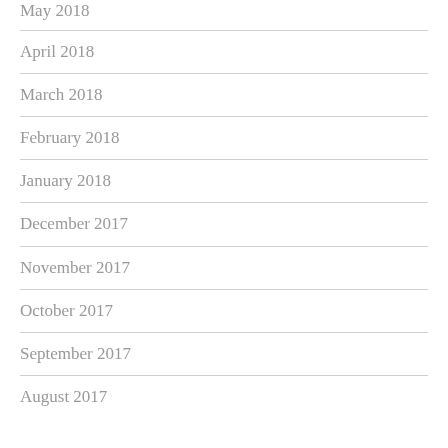May 2018
April 2018
March 2018
February 2018
January 2018
December 2017
November 2017
October 2017
September 2017
August 2017